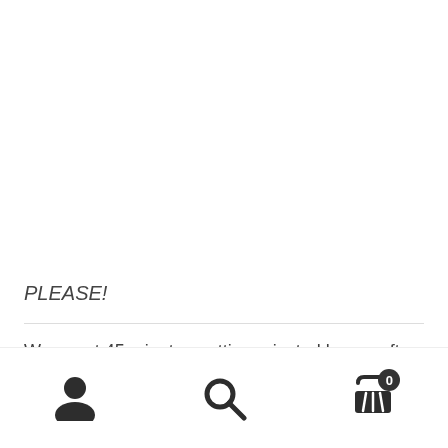PLEASE!
We spent 45 minutes getting rejected by car after car after car. Amazingly, Maria was the one who took the first cry
[Figure (infographic): Bottom navigation bar with three icons: user/profile icon on the left, search magnifying glass icon in the center, and shopping cart icon with a badge showing '0' on the right]